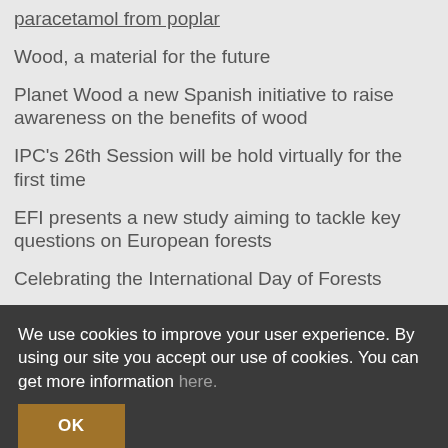paracetamol from poplar
Wood, a material for the future
Planet Wood a new Spanish initiative to raise awareness on the benefits of wood
IPC's 26th Session will be hold virtually for the first time
EFI presents a new study aiming to tackle key questions on European forests
Celebrating the International Day of Forests
The future of clean energy is wooden wind power turbines
Industrial applications of poplar wood
Populiculture, a crop aligned with UN's SDG 2030
The EU's upcoming new Forest Strategy: a great
We use cookies to improve your user experience. By using our site you accept our use of cookies. You can get more information here.
OK